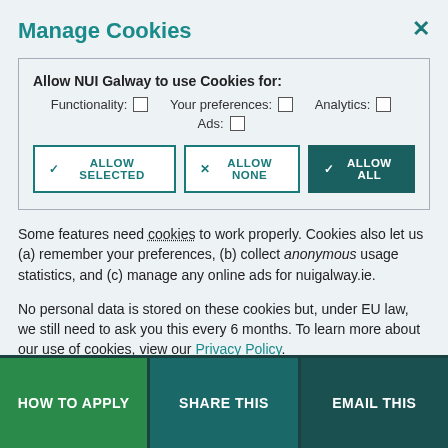Manage Cookies
Allow NUI Galway to use Cookies for: Functionality: ☐  Your preferences: ☐  Analytics: ☐  Ads: ☐
ALLOW SELECTED | ALLOW NONE | ALLOW ALL
Some features need cookies to work properly. Cookies also let us (a) remember your preferences, (b) collect anonymous usage statistics, and (c) manage any online ads for nuigalway.ie.
No personal data is stored on these cookies but, under EU law, we still need to ask you this every 6 months. To learn more about our use of cookies, view our Privacy Policy.
HOW TO APPLY | SHARE THIS | EMAIL THIS